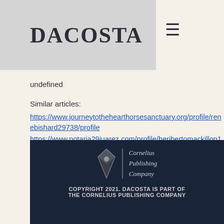DACOSTA
undefined
Similar articles:
https://www.journeytothehearthorsesanctuary.org/profile/renebishard29738/profile
https://www.notaria29juarez.com/profile/heribertomackillop164319/profile
https://www.essessswim.com/profile/leomabr ading95665/profile
https://www.footprinteastneuk.com/profile/thadzenner90512/profile
COPYRIGHT 2021. DACOSTA IS PART OF THE CORNELIUS PUBLISHING COMPANY